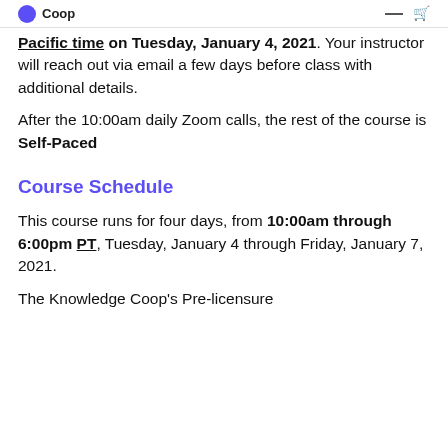Coop
10:00am Pacific time on Tuesday, January 4, 2021. Your instructor will reach out via email a few days before class with additional details.
After the 10:00am daily Zoom calls, the rest of the course is Self-Paced
Course Schedule
This course runs for four days, from 10:00am through 6:00pm PT, Tuesday, January 4 through Friday, January 7, 2021.
The Knowledge Coop's Pre-licensure